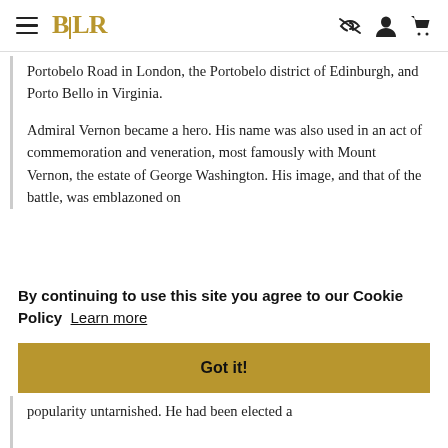BLR - website header with hamburger menu, logo, and icons
Portobelo Road in London, the Portobelo district of Edinburgh, and Porto Bello in Virginia.
Admiral Vernon became a hero. His name was also used in an act of commemoration and veneration, most famously with Mount Vernon, the estate of George Washington. His image, and that of the battle, was emblazoned on
By continuing to use this site you agree to our Cookie Policy  Learn more
Got it!
popularity untarnished. He had been elected a